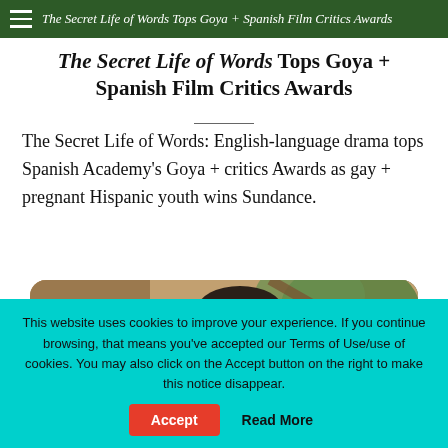The Secret Life of Words Tops Goya + Spanish Film Critics Awards
The Secret Life of Words Tops Goya + Spanish Film Critics Awards
The Secret Life of Words: English-language drama tops Spanish Academy's Goya + critics Awards as gay + pregnant Hispanic youth wins Sundance.
[Figure (photo): A man's face with shaving cream or paint on it, partially visible, with foliage and warm tones in the background]
This website uses cookies to improve your experience. If you continue browsing, that means you've accepted our Terms of Use/use of cookies. You may also click on the Accept button on the right to make this notice disappear.